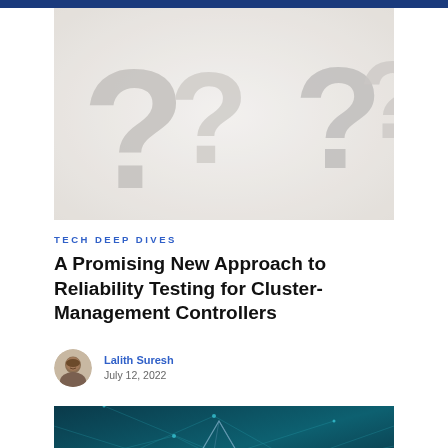[Figure (photo): 3D rendered white question marks on a light background]
Tech Deep Dives
A Promising New Approach to Reliability Testing for Cluster-Management Controllers
Lalith Suresh
July 12, 2022
[Figure (photo): Dark teal/blue tech network background with geometric lines and a pyramid shape]
Cookie Settings